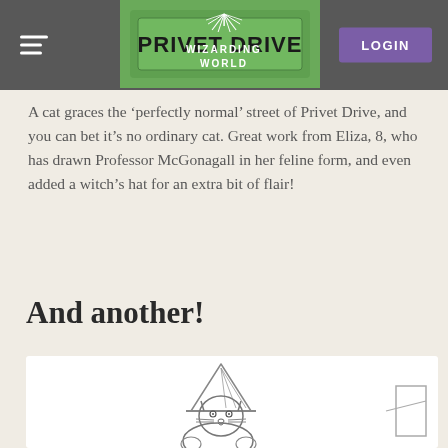WIZARDING WORLD | LOGIN
A cat graces the ‘perfectly normal’ street of Privet Drive, and you can bet it’s no ordinary cat. Great work from Eliza, 8, who has drawn Professor McGonagall in her feline form, and even added a witch’s hat for an extra bit of flair!
And another!
[Figure (illustration): Child's pencil drawing of a cat wearing a witch's hat, sitting with paws visible, whiskers drawn on face. Partial second drawing visible on right edge.]